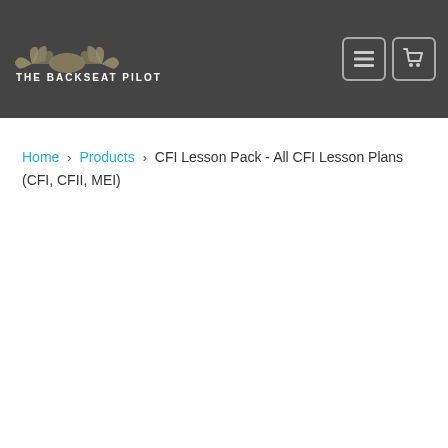[Figure (logo): The Backseat Pilot logo with wings and text in a dark header bar]
Home › Products › CFI Lesson Pack - All CFI Lesson Plans (CFI, CFII, MEI)